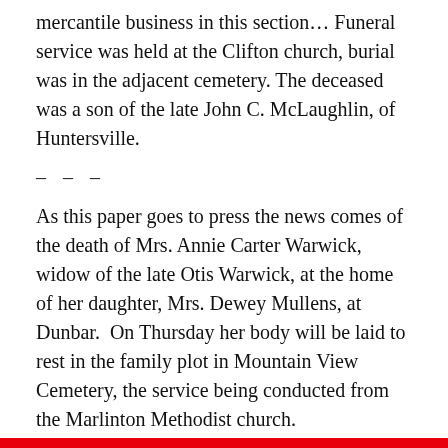mercantile business in this section… Funeral service was held at the Clifton church, burial was in the adjacent cemetery. The deceased was a son of the late John C. McLaughlin, of Huntersville.
– – –
As this paper goes to press the news comes of the death of Mrs. Annie Carter Warwick, widow of the late Otis Warwick, at the home of her daughter, Mrs. Dewey Mullens, at Dunbar.  On Thursday her body will be laid to rest in the family plot in Mountain View Cemetery, the service being conducted from the Marlinton Methodist church.
– – –
Robert Ryder, aged 29 years, died on Monday, June 4, 1945, after a short illness. The deceased had been